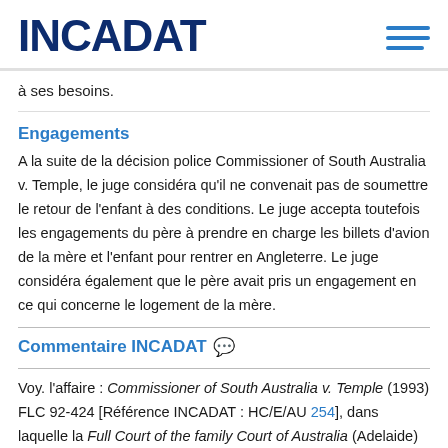INCADAT
à ses besoins.
Engagements
A la suite de la décision police Commissioner of South Australia v. Temple, le juge considéra qu'il ne convenait pas de soumettre le retour de l'enfant à des conditions. Le juge accepta toutefois les engagements du père à prendre en charge les billets d'avion de la mère et l'enfant pour rentrer en Angleterre. Le juge considéra également que le père avait pris un engagement en ce qui concerne le logement de la mère.
Commentaire INCADAT
Voy. l'affaire : Commissioner of South Australia v. Temple (1993) FLC 92-424 [Référence INCADAT : HC/E/AU 254], dans laquelle la Full Court of the family Court of Australia (Adelaide) a décidé, en appel, que l'art. 15 (2) du code de la famille ne donne pas au juge le pouvoir